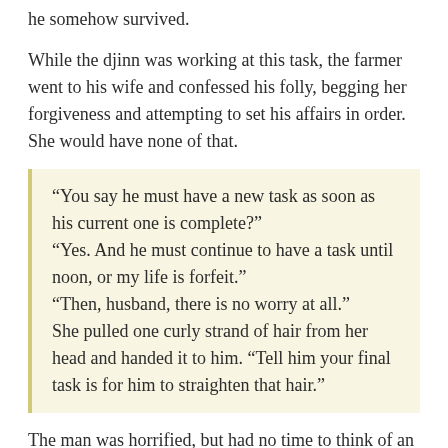he somehow survived.
While the djinn was working at this task, the farmer went to his wife and confessed his folly, begging her forgiveness and attempting to set his affairs in order. She would have none of that.
“You say he must have a new task as soon as his current one is complete?”
“Yes. And he must continue to have a task until noon, or my life is forfeit.”
“Then, husband, there is no worry at all.”
She pulled one curly strand of hair from her head and handed it to him. “Tell him your final task is for him to straighten that hair.”
The man was horrified, but had no time to think of an alternative, for the djinn had completed his extravagant